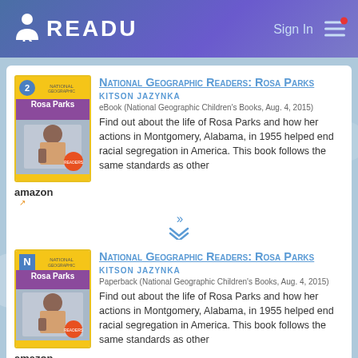READU  Sign In
[Figure (screenshot): Book listing card 1: National Geographic Readers: Rosa Parks by Kitson Jazynka. eBook (National Geographic Children's Books, Aug. 4, 2015). Find out about the life of Rosa Parks and how her actions in Montgomery, Alabama, in 1955 helped end racial segregation in America. This book follows the same standards as other]
[Figure (screenshot): Book listing card 2: National Geographic Readers: Rosa Parks by Kitson Jazynka. Paperback (National Geographic Children's Books, Aug. 4, 2015). Find out about the life of Rosa Parks and how her actions in Montgomery, Alabama, in 1955 helped end racial segregation in America. This book follows the same standards as other]